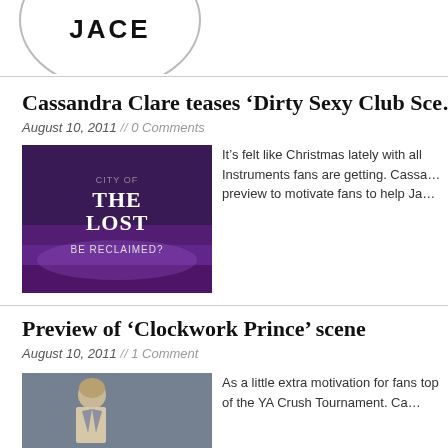[Figure (logo): Circular logo with text JACE]
Cassandra Clare teases ‘Dirty Sexy Club Sce…
August 10, 2011 // 0 Comments
[Figure (illustration): Dark purple book cover with text: THE LOST BE RECLAIMED?]
It’s felt like Christmas lately with all Instruments fans are getting. Cassa… preview to motivate fans to help Ja…
Preview of ‘Clockwork Prince’ scene
August 10, 2011 // 1 Comment
[Figure (illustration): Character in suit, book cover art]
As a little extra motivation for fans top of the YA Crush Tournament. Ca…